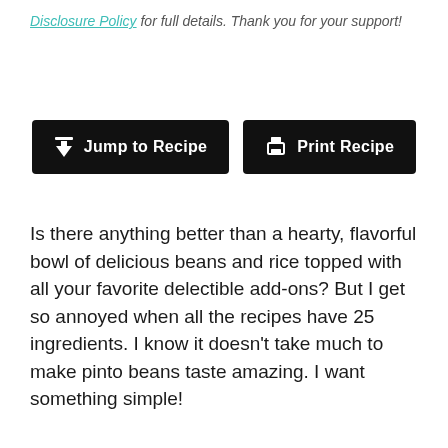Disclosure Policy for full details. Thank you for your support!
[Figure (other): Two black buttons: 'Jump to Recipe' with a download arrow icon, and 'Print Recipe' with a printer icon]
Is there anything better than a hearty, flavorful bowl of delicious beans and rice topped with all your favorite delectible add-ons? But I get so annoyed when all the recipes have 25 ingredients. I know it doesn't take much to make pinto beans taste amazing. I want something simple!